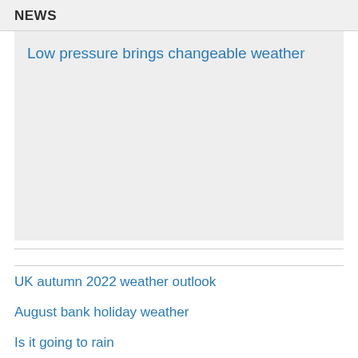NEWS
Low pressure brings changeable weather
UK autumn 2022 weather outlook
August bank holiday weather
Is it going to rain